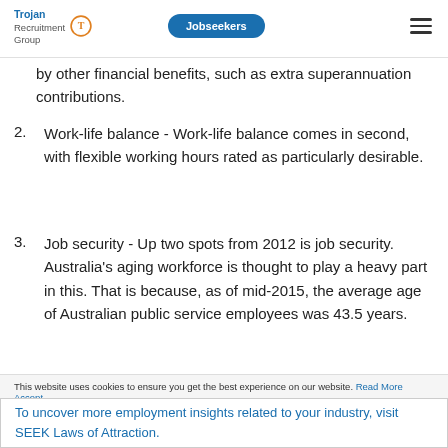Trojan Recruitment Group | Jobseekers
by other financial benefits, such as extra superannuation contributions.
2. Work-life balance - Work-life balance comes in second, with flexible working hours rated as particularly desirable.
3. Job security - Up two spots from 2012 is job security. Australia's aging workforce is thought to play a heavy part in this. That is because, as of mid-2015, the average age of Australian public service employees was 43.5 years.
This website uses cookies to ensure you get the best experience on our website. Read More
To uncover more employment insights related to your industry, visit SEEK Laws of Attraction.